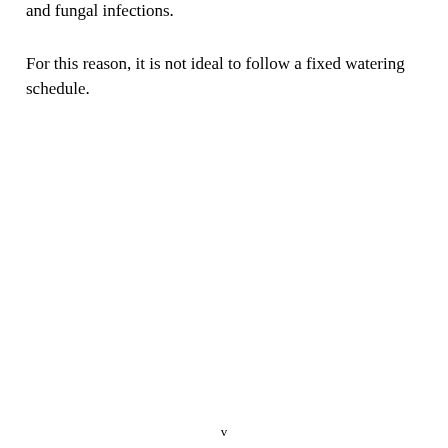and fungal infections.
For this reason, it is not ideal to follow a fixed watering schedule.
v